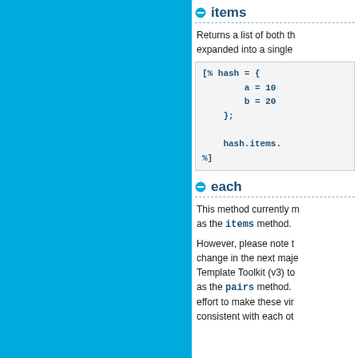[Figure (other): Blue sidebar navigation panel]
items
Returns a list of both th... expanded into a single...
[% hash = {
        a = 10
        b = 20
    };

    hash.items.
%]
each
This method currently m... as the items method.
However, please note t... change in the next maje... Template Toolkit (v3) to... as the pairs method.... effort to make these vir... consistent with each ot...